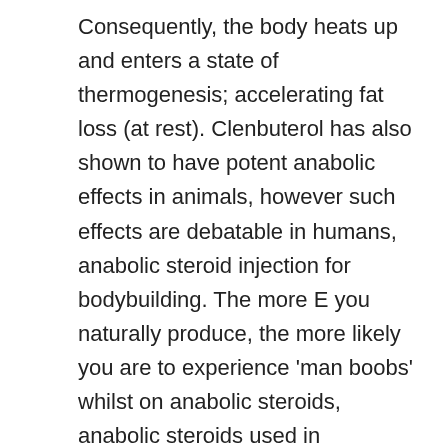Consequently, the body heats up and enters a state of thermogenesis; accelerating fat loss (at rest). Clenbuterol has also shown to have potent anabolic effects in animals, however such effects are debatable in humans, anabolic steroid injection for bodybuilding. The more E you naturally produce, the more likely you are to experience 'man boobs' whilst on anabolic steroids, anabolic steroids used in bodybuilding. There are also reports of people experiencing gyno, whilst taking Anavar. A simple and moderately dosed testosterone cycle may be all you ever need, and such a cycle will work for you every single time, thaiger pharma online shopping. Your body isn't going to magically adapt to where such a plan will no longer work. Anavar Cycle: How to Maximize Your Gains & FAQ: Beginners The